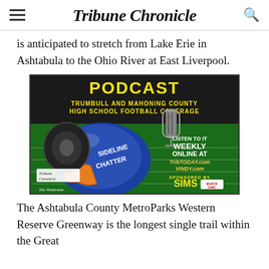Tribune Chronicle
is anticipated to stretch from Lake Erie in Ashtabula to the Ohio River at East Liverpool.
[Figure (illustration): Podcast advertisement for 'Sideline Chatter' - Trumbull and Mahoning County High School Football Coverage podcast. Black background with green football field. Yellow text reads 'PODCAST' and 'TRUMBULL AND MAHONING COUNTY HIGH SCHOOL FOOTBALL COVERAGE'. Blue football helmet with orange facemask reads 'SIDELINE CHATTER'. Microphone visible. Text: 'LISTEN TO IT WEEKLY ONLINE AT TribTODAY.com VINDY.com'. 'Tribune Chronicle' and 'The Vindicator' logos. 'SPONSORED BY SIMS Buick GMC'.]
The Ashtabula County MetroParks Western Reserve Greenway is the longest single trail within the Great